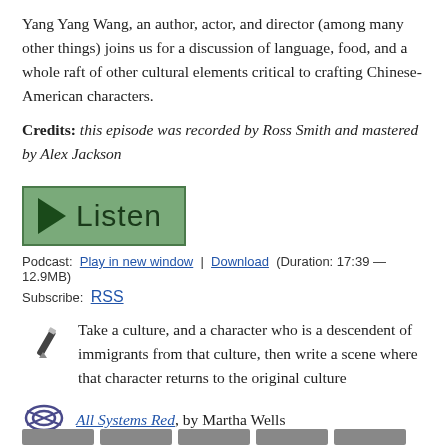Yang Yang Wang, an author, actor, and director (among many other things) joins us for a discussion of language, food, and a whole raft of other cultural elements critical to crafting Chinese-American characters.
Credits: this episode was recorded by Ross Smith and mastered by Alex Jackson
[Figure (other): Green Listen button with play triangle icon]
Podcast: Play in new window | Download (Duration: 17:39 — 12.9MB)
Subscribe: RSS
Take a culture, and a character who is a descendent of immigrants from that culture, then write a scene where that character returns to the original culture
All Systems Red, by Martha Wells